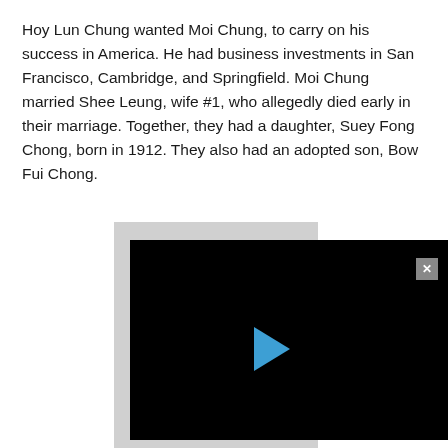Hoy Lun Chung wanted Moi Chung, to carry on his success in America. He had business investments in San Francisco, Cambridge, and Springfield. Moi Chung married Shee Leung, wife #1, who allegedly died early in their marriage. Together, they had a daughter, Suey Fong Chong, born in 1912. They also had an adopted son, Bow Fui Chong.
[Figure (screenshot): A video player interface with black background, a blue play button triangle in the center, and a gray close/X button in the top right corner. Behind the video player is a gray background strip. Below the player, a partial black-and-white portrait photo of a person in dark clothing with a white collar detail is visible.]